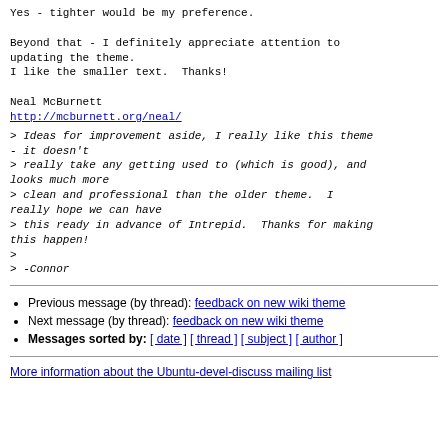Yes - tighter would be my preference.

Beyond that - I definitely appreciate attention to updating the theme.
I like the smaller text.  Thanks!

Neal McBurnett
http://mcburnett.org/neal/
> Ideas for improvement aside, I really like this theme - it doesn't
> really take any getting used to (which is good), and looks much more
> clean and professional than the older theme.  I really hope we can have
> this ready in advance of Intrepid.  Thanks for making this happen!
>
> -Connor
Previous message (by thread): feedback on new wiki theme
Next message (by thread): feedback on new wiki theme
Messages sorted by: [ date ] [ thread ] [ subject ] [ author ]
More information about the Ubuntu-devel-discuss mailing list